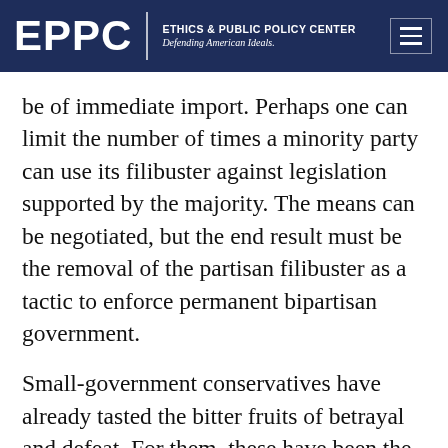EPPC | ETHICS & PUBLIC POLICY CENTER Defending American Ideals.
be of immediate import. Perhaps one can limit the number of times a minority party can use its filibuster against legislation supported by the majority. The means can be negotiated, but the end result must be the removal of the partisan filibuster as a tactic to enforce permanent bipartisan government.
Small-government conservatives have already tasted the bitter fruits of betrayal and defeat. For them, these have been the worst of times. Why not try the approach outlined here and hope to bring about the best?